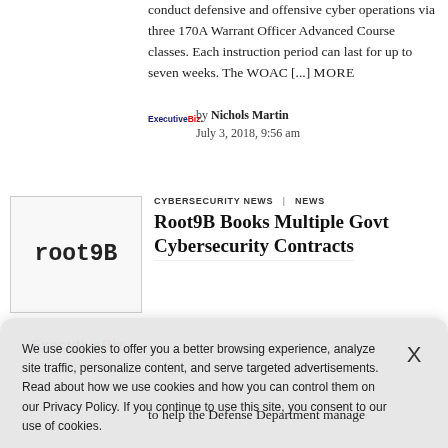conduct defensive and offensive cyber operations via three 170A Warrant Officer Advanced Course classes. Each instruction period can last for up to seven weeks. The WOAC [...] MORE
by Nichols Martin
July 3, 2018, 9:56 am
CYBERSECURITY NEWS   NEWS
Root9B Books Multiple Govt Cybersecurity Contracts
[Figure (logo): Root9B logo — blocky dark letters spelling 'root9B']
[Figure (logo): ExecutiveBiz logo with tagline 'by Camber Executive']
We use cookies to offer you a better browsing experience, analyze site traffic, personalize content, and serve targeted advertisements. Read about how we use cookies and how you can control them on our Privacy Policy. If you continue to use this site, you consent to our use of cookies.
to help the Defense Department manage